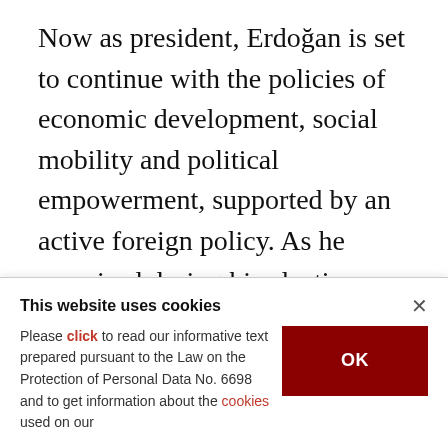Now as president, Erdoğan is set to continue with the policies of economic development, social mobility and political empowerment, supported by an active foreign policy. As he promised during his election campaign, Erdoğan will focus on resolving the Kurdish issue, accelerating the EU process, maintaining political stability and economic development, and preparing Turkey for the first centennial of the founding of the Turkish Republic. He is also likely to make an effort to draft a new
This website uses cookies
Please click to read our informative text prepared pursuant to the Law on the Protection of Personal Data No. 6698 and to get information about the cookies used on our